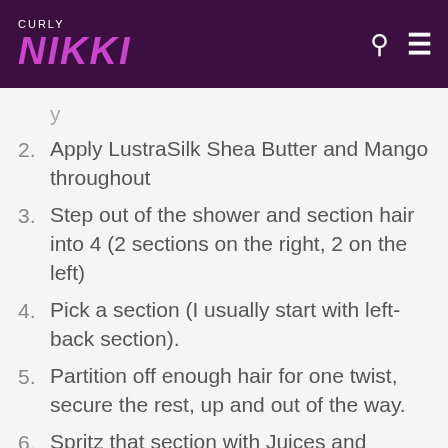CURLY NIKKI
2. Apply LustraSilk Shea Butter and Mango throughout
3. Step out of the shower and section hair into 4 (2 sections on the right, 2 on the left)
4. Pick a section (I usually start with left-back section).
5. Partition off enough hair for one twist, secure the rest, up and out of the way.
6. Spritz that section with Juices and Berries (for slip and moisture) and brush with the Denman D3 to smooth. Be VERY gentle and